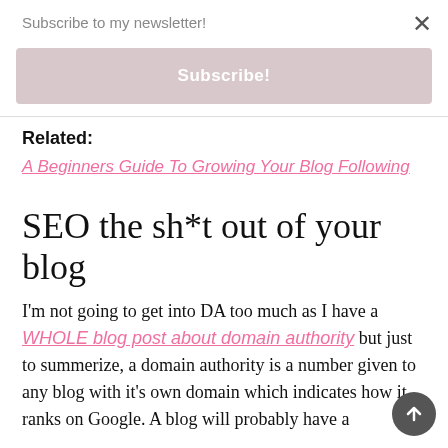Subscribe to my newsletter!
Subscribe!
Related:
A Beginners Guide To Growing Your Blog Following
SEO the sh*t out of your blog
I'm not going to get into DA too much as I have a WHOLE blog post about domain authority but just to summerize, a domain authority is a number given to any blog with it's own domain which indicates how it ranks on Google. A blog will probably have a